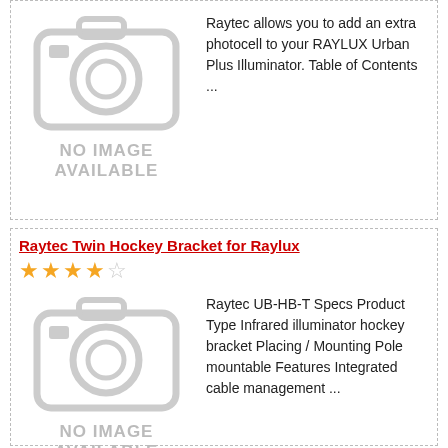[Figure (illustration): No image available placeholder with camera icon]
Raytec allows you to add an extra photocell to your RAYLUX Urban Plus Illuminator. Table of Contents ...
Raytec Twin Hockey Bracket for Raylux
[Figure (illustration): No image available placeholder with camera icon]
Raytec UB-HB-T Specs Product Type Infrared illuminator hockey bracket Placing / Mounting Pole mountable Features Integrated cable management ...